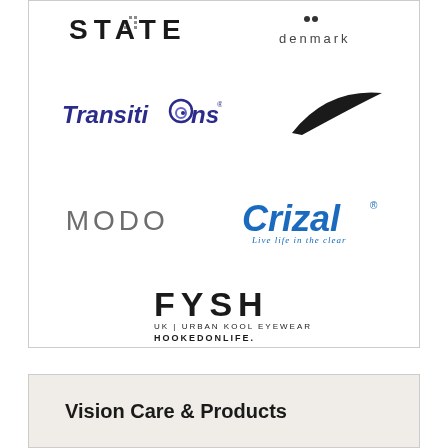[Figure (logo): Brand logos grid: STATE denmark, Transitions, Nike swoosh, MODO, Crizal (Live life in the clear), FYSH UK Urban Kool Eyewear Hooked on Life]
Vision Care & Products